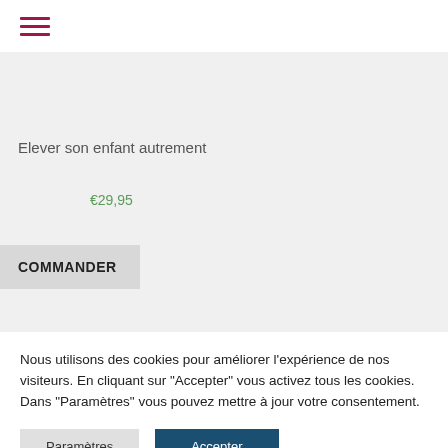[Figure (other): Hamburger menu icon with three horizontal dark pink/crimson lines]
Elever son enfant autrement
€29,95
COMMANDER
Nous utilisons des cookies pour améliorer l'expérience de nos visiteurs. En cliquant sur "Accepter" vous activez tous les cookies. Dans "Paramètres" vous pouvez mettre à jour votre consentement.
Paramètres
Accepter